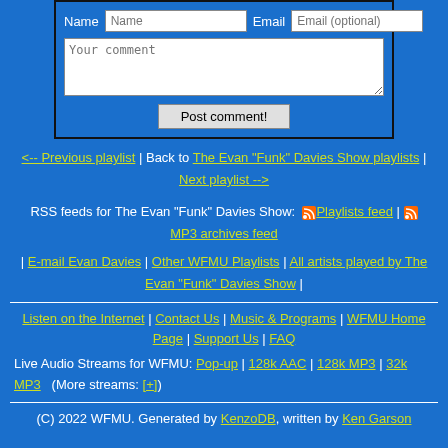[Figure (screenshot): Comment form with Name, Email fields, textarea for comment, and Post comment! button]
<-- Previous playlist | Back to The Evan "Funk" Davies Show playlists | Next playlist -->
RSS feeds for The Evan "Funk" Davies Show: [RSS icon] Playlists feed | [RSS icon] MP3 archives feed
| E-mail Evan Davies | Other WFMU Playlists | All artists played by The Evan "Funk" Davies Show |
Listen on the Internet | Contact Us | Music & Programs | WFMU Home Page | Support Us | FAQ
Live Audio Streams for WFMU: Pop-up | 128k AAC | 128k MP3 | 32k MP3  (More streams: [+])
(C) 2022 WFMU. Generated by KenzoDB, written by Ken Garson